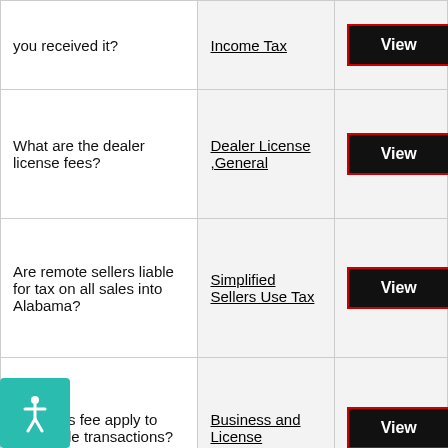| Question | Topic | Action |
| --- | --- | --- |
| you received it? | Income Tax | View |
| What are the dealer license fees? | Dealer License ,General | View |
| Are remote sellers liable for tax on all sales into Alabama? | Simplified Sellers Use Tax | View |
| Does this fee apply to wholesale transactions? | Business and License | View |
| I received a letter stating I needed to [am]y my return, but I [c]ot find the link in | Individual Income Tax | [chat] |